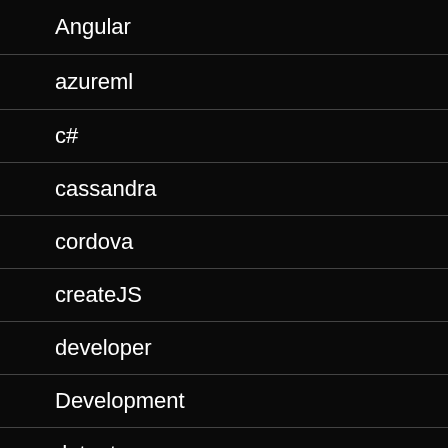Angular
azureml
c#
cassandra
cordova
createJS
developer
Development
dotnetcore